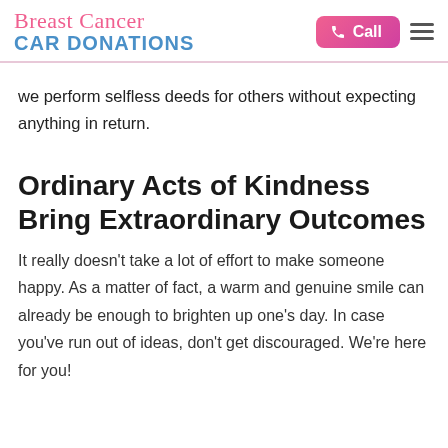Breast Cancer CAR DONATIONS | Call
we perform selfless deeds for others without expecting anything in return.
Ordinary Acts of Kindness Bring Extraordinary Outcomes
It really doesn't take a lot of effort to make someone happy. As a matter of fact, a warm and genuine smile can already be enough to brighten up one's day. In case you've run out of ideas, don't get discouraged. We're here for you!